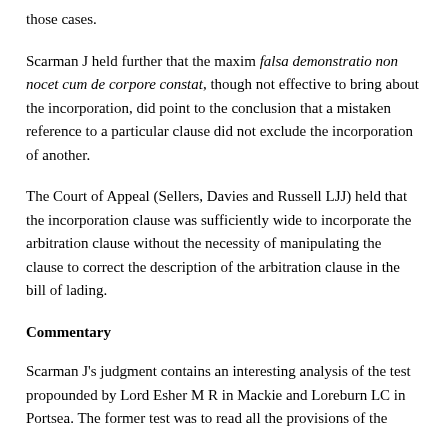those cases.
Scarman J held further that the maxim falsa demonstratio non nocet cum de corpore constat, though not effective to bring about the incorporation, did point to the conclusion that a mistaken reference to a particular clause did not exclude the incorporation of another.
The Court of Appeal (Sellers, Davies and Russell LJJ) held that the incorporation clause was sufficiently wide to incorporate the arbitration clause without the necessity of manipulating the clause to correct the description of the arbitration clause in the bill of lading.
Commentary
Scarman J's judgment contains an interesting analysis of the test propounded by Lord Esher M R in Mackie and Loreburn LC in Portsea. The former test was to read all the provisions of the